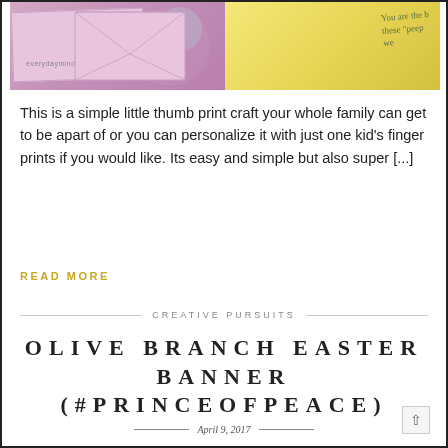[Figure (photo): Photo strip showing pink glittery envelopes on left and yellow paper with handwritten text on right, with website label 'everydayminders.com']
This is a simple little thumb print craft your whole family can get to be apart of or you can personalize it with just one kid's finger prints if you would like. Its easy and simple but also super [...]
READ MORE
CREATIVE PURSUITS
OLIVE BRANCH EASTER BANNER (#PRINCEOFPEACE)
April 9, 2017